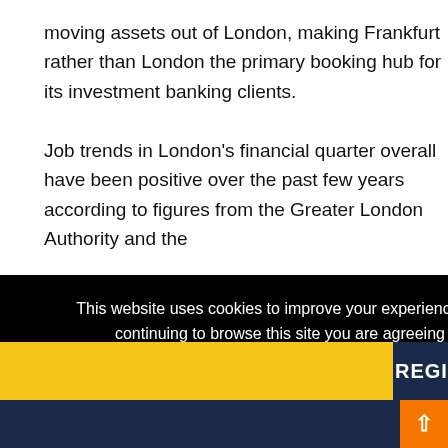moving assets out of London, making Frankfurt rather than London the primary booking hub for its investment banking clients.
Job trends in London’s financial quarter overall have been positive over the past few years according to figures from the Greater London Authority and the
[Figure (screenshot): Cookie consent overlay on a webpage with black background. Text reads: 'This website uses cookies to improve your experience and for ads personalisation. By continuing to browse this site you are agreeing to our use of these cookies. You can learn more about the cookies we use here.' Below is a yellow OK button bar.]
xit
gan
ng
ush of
REGIS